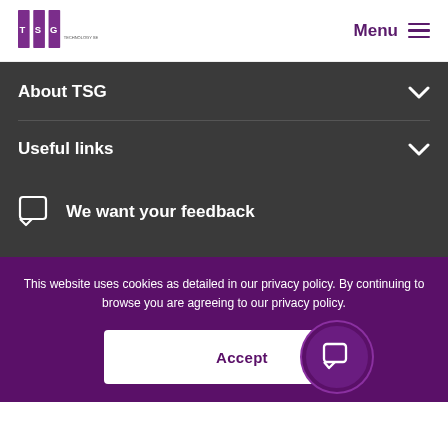[Figure (logo): TSG Technology Services Group logo with purple vertical bars and letters T S G]
Menu
About TSG
Useful links
We want your feedback
This website uses cookies as detailed in our privacy policy. By continuing to browse you are agreeing to our privacy policy.
Accept